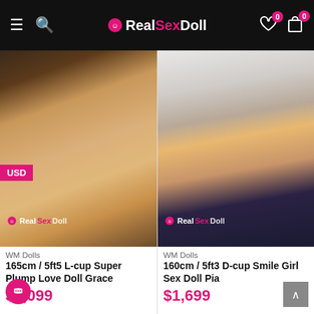RealSexDoll — navigation header with hamburger menu, search, logo, wishlist (0), cart (0)
[Figure (photo): Product photo of WM Dolls 165cm/5ft5 L-cup Super Plump Love Doll Grace — a realistic doll with curly light-brown hair, shown from above torso, with USD badge overlay and RealSexDoll watermark]
[Figure (photo): Product photo of WM Dolls 160cm/5ft3 D-cup Smile Girl Sex Doll Pia — a realistic doll with dark straight hair, wearing yellow tank top and dark patterned underwear, with RealSexDoll watermark]
WM Dolls
165cm / 5ft5 L-cup Super Plump Love Doll Grace
$1,099
WM Dolls
160cm / 5ft3 D-cup Smile Girl Sex Doll Pia
$1,699